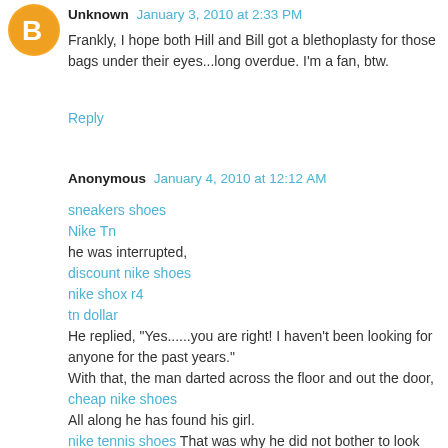[Figure (logo): Orange circle Blogger avatar icon]
Unknown January 3, 2010 at 2:33 PM
Frankly, I hope both Hill and Bill got a blethoplasty for those bags under their eyes...long overdue. I'm a fan, btw.
Reply
Anonymous January 4, 2010 at 12:12 AM
sneakers shoes
Nike Tn
he was interrupted,
discount nike shoes
nike shox r4
tn dollar
He replied, "Yes......you are right! I haven't been looking for anyone for the past years."
With that, the man darted across the floor and out the door,
cheap nike shoes
All along he has found his girl.
nike tennis shoes That was why he did not bother to look further when he realized she was not coming back. It was not any specific girl he was seeking!
cheap nike shoxIt was perfection that he wanted...and